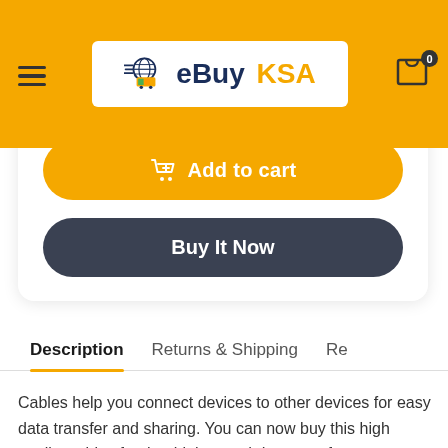eBuy KSA
Add to cart
Buy It Now
Description
Returns & Shipping
Re
Cables help you connect devices to other devices for easy data transfer and sharing. You can now buy this high quality cables for that high speed data transfer